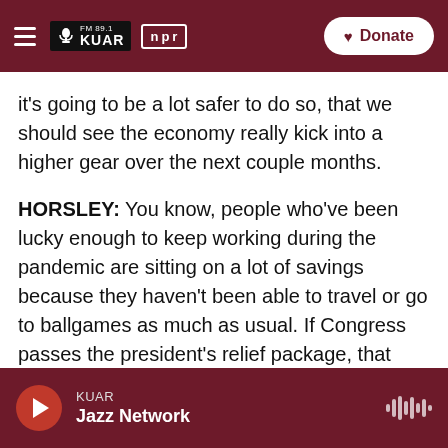FM 89.1 KUAR | npr | Donate
it's going to be a lot safer to do so, that we should see the economy really kick into a higher gear over the next couple months.
HORSLEY: You know, people who've been lucky enough to keep working during the pandemic are sitting on a lot of savings because they haven't been able to travel or go to ballgames as much as usual. If Congress passes the president's relief package, that would mean another $1,400 payment for most Americans. That could fuel a lot of spending in the months to come.
KUAR Jazz Network